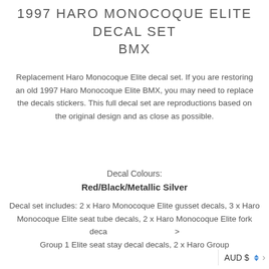1997 Haro Monocoque Elite decal set BMX
Replacement Haro Monocoque Elite decal set. If you are restoring an old 1997 Haro Monocoque Elite BMX, you may need to replace the decals stickers. This full decal set are reproductions based on the original design and as close as possible.
Decal Colours: Red/Black/Metallic Silver
Decal set includes: 2 x Haro Monocoque Elite gusset decals, 3 x Haro Monocoque Elite seat tube decals, 2 x Haro Monocoque Elite fork deca... Group 1 Elite seat stay decal decals, 2 x Haro Group